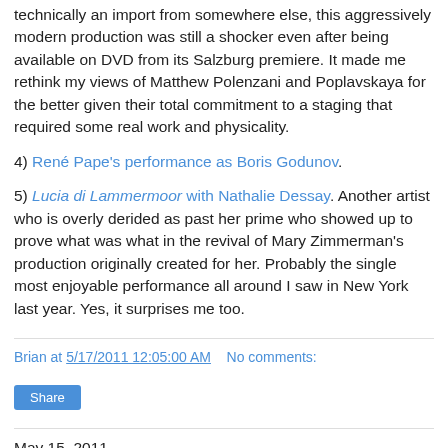technically an import from somewhere else, this aggressively modern production was still a shocker even after being available on DVD from its Salzburg premiere. It made me rethink my views of Matthew Polenzani and Poplavskaya for the better given their total commitment to a staging that required some real work and physicality.
4) René Pape's performance as Boris Godunov.
5) Lucia di Lammermoor with Nathalie Dessay. Another artist who is overly derided as past her prime who showed up to prove what was what in the revival of Mary Zimmerman's production originally created for her. Probably the single most enjoyable performance all around I saw in New York last year. Yes, it surprises me too.
Brian at 5/17/2011 12:05:00 AM    No comments:
Share
May 15, 2011